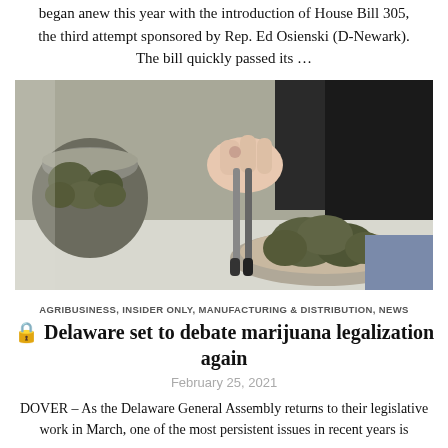began anew this year with the introduction of House Bill 305, the third attempt sponsored by Rep. Ed Osienski (D-Newark). The bill quickly passed its …
[Figure (photo): Close-up photo of a person using metal tongs to handle marijuana buds from a glass jar and metal bowl, likely in a dispensary setting.]
AGRIBUSINESS, INSIDER ONLY, MANUFACTURING & DISTRIBUTION, NEWS
🔒 Delaware set to debate marijuana legalization again
February 25, 2021
DOVER – As the Delaware General Assembly returns to their legislative work in March, one of the most persistent issues in recent years is